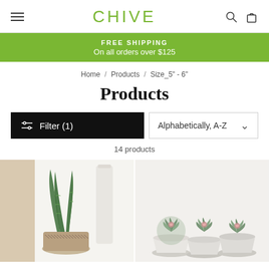CHIVE
FREE SHIPPING
On all orders over $125
Home / Products / Size_5" - 6"
Products
Filter (1)
Alphabetically, A-Z
14 products
[Figure (photo): Snake plant in a patterned pot next to a tall white vase on a light background]
[Figure (photo): Three succulents in white pots arranged together on a light background]